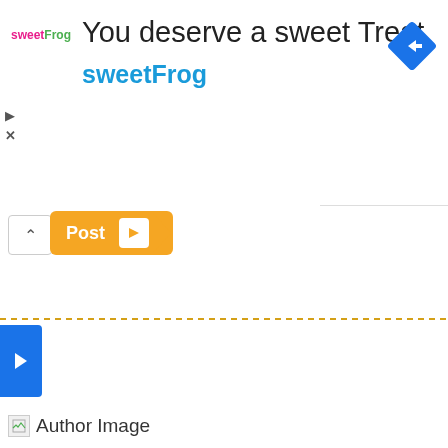[Figure (screenshot): SweetFrog ad banner with logo, title 'You deserve a sweet Treat', subtitle 'sweetFrog', navigation arrow icon, play and close icons]
[Figure (screenshot): Post button with orange background, white arrow box, and a caret/chevron up button]
[Figure (screenshot): Dashed orange horizontal separator line]
[Figure (screenshot): Blue tab with white right-arrow chevron on left edge]
Author Image